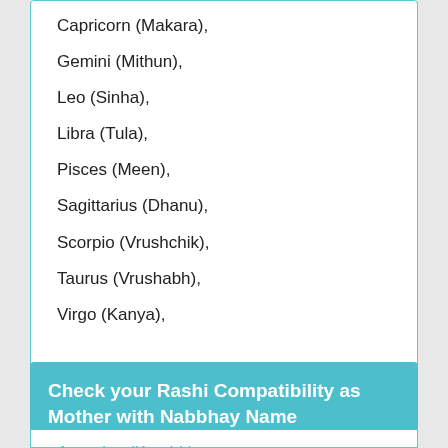Capricorn (Makara),
Gemini (Mithun),
Leo (Sinha),
Libra (Tula),
Pisces (Meen),
Sagittarius (Dhanu),
Scorpio (Vrushchik),
Taurus (Vrushabh),
Virgo (Kanya),
Check your Rashi Compatibility as Mother with Nabbhay Name
Aquarius (Kumbh),